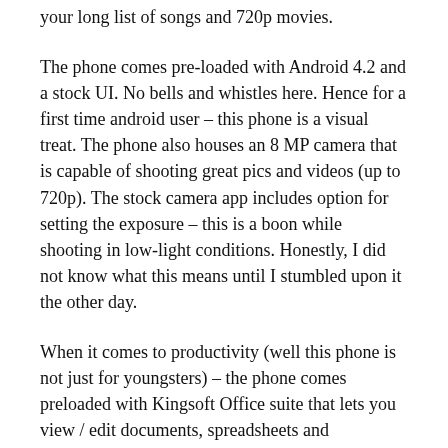your long list of songs and 720p movies.
The phone comes pre-loaded with Android 4.2 and a stock UI. No bells and whistles here. Hence for a first time android user – this phone is a visual treat. The phone also houses an 8 MP camera that is capable of shooting great pics and videos (up to 720p). The stock camera app includes option for setting the exposure – this is a boon while shooting in low-light conditions. Honestly, I did not know what this means until I stumbled upon it the other day.
When it comes to productivity (well this phone is not just for youngsters) – the phone comes preloaded with Kingsoft Office suite that lets you view / edit documents, spreadsheets and presentation. It supports PDF files too.
The phone comes with a 2000mAh battery that last 1 full